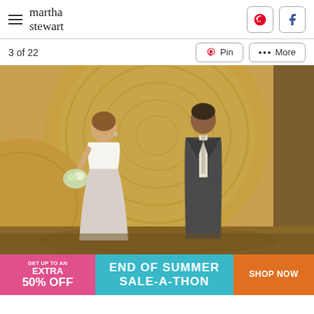martha stewart
3 of 22
[Figure (photo): Bride and groom smiling in front of large hay bales in a barn. The bride wears a white strapless gown with a grey sash and holds a bouquet. The groom wears a dark grey suit with a light tie.]
[Figure (infographic): Advertisement banner: GET UP TO AN EXTRA 50% OFF | END OF SUMMER SALE-A-THON | SHOP NOW]